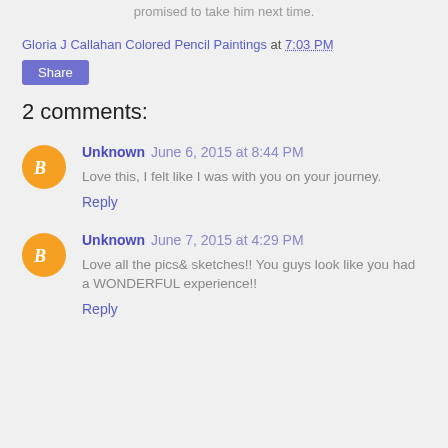promised to take him next time.
Gloria J Callahan Colored Pencil Paintings at 7:03 PM
Share
2 comments:
Unknown June 6, 2015 at 8:44 PM
Love this, I felt like I was with you on your journey.
Reply
Unknown June 7, 2015 at 4:29 PM
Love all the pics& sketches!! You guys look like you had a WONDERFUL experience!!
Reply